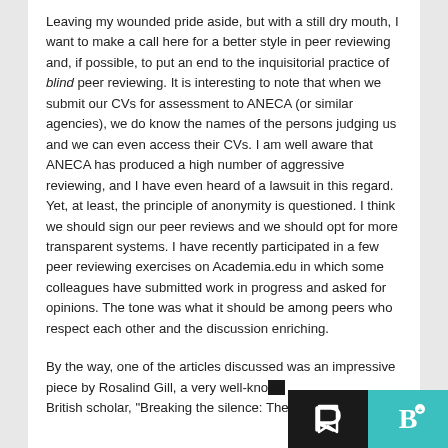Leaving my wounded pride aside, but with a still dry mouth, I want to make a call here for a better style in peer reviewing and, if possible, to put an end to the inquisitorial practice of blind peer reviewing. It is interesting to note that when we submit our CVs for assessment to ANECA (or similar agencies), we do know the names of the persons judging us and we can even access their CVs. I am well aware that ANECA has produced a high number of aggressive reviewing, and I have even heard of a lawsuit in this regard. Yet, at least, the principle of anonymity is questioned. I think we should sign our peer reviews and we should opt for more transparent systems. I have recently participated in a few peer reviewing exercises on Academia.edu in which some colleagues have submitted work in progress and asked for opinions. The tone was what it should be among peers who respect each other and the discussion enriching.
By the way, one of the articles discussed was an impressive piece by Rosalind Gill, a very well-known British scholar, "Breaking the silence: The hidden i...